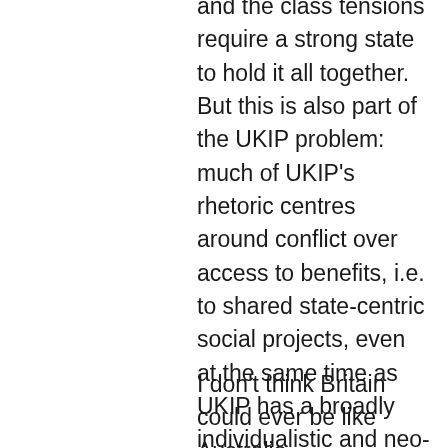and the class tensions require a strong state to hold it all together. But this is also part of the UKIP problem: much of UKIP's rhetoric centres around conflict over access to benefits, i.e. to shared state-centric social projects, even at the same time as UKIP has a broadly individualistic and neo-liberal economic policy outlook (to the extent that they think about policies). Perhaps Labour's problem also arose from this conflict, which is why New Labour was trying to grow a big benefits state while also pandering to a highly individualistic and anti-government industrial block (the financial sector).
I don't think Britain could ever be like Australia. Fundamentally Britain is a conservative society held together by race-consciousness, and it